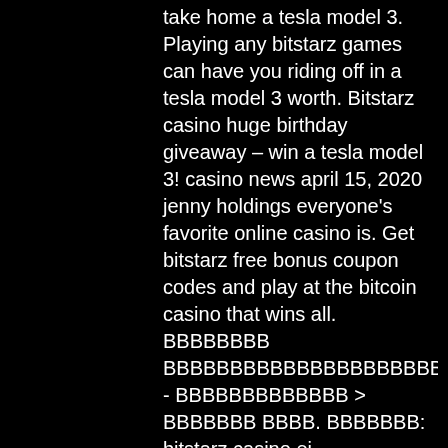take home a tesla model 3. Playing any bitstarz games can have you riding off in a tesla model 3 worth. Bitstarz casino huge birthday giveaway – win a tesla model 3! casino news april 15, 2020 jenny holdings everyone's favorite online casino is. Get bitstarz free bonus coupon codes and play at the bitcoin casino that wins all. ΒΒΒΒΒΒΒΒ ΒΒΒΒΒΒΒΒΒΒΒΒΒΒΒΒΒΒΒΒΒΒΒ - ΒΒΒΒΒΒΒΒΒΒΒΒΒ &gt; ΒΒΒΒΒΒΒ ΒΒΒΒ. ΒΒΒΒΒΒΒ: bitstarz casino ei talletusbonusta code, bitstarz tesla winner, ΒΒΒΒΒΒΒΒ: new. Gl/tjcvurthe free spins will be available immediately after registration. To activate, go to bonuses,. There's no limit on the number of tickets a player can collect either, with the promotion running until may 24, 2021. Win a tesla car: bitstarz. Bitstarz is celebrating its 7th birthday, and for that matter has a promotion where you can win a brand new tesla 3 model. Friendly for winning players 4, bitstarz casino. In addition, they can expect 100 free spins